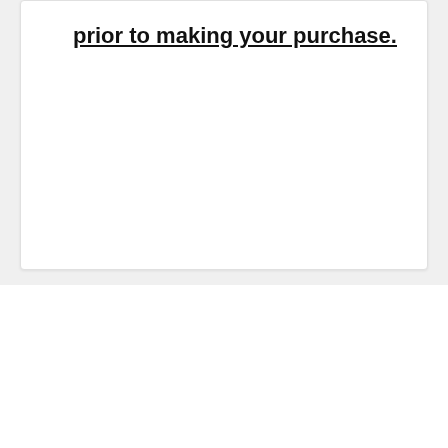prior to making your purchase.
Account Login →
Register →
Subscribe to our newsletter
Enter your email address...
[Figure (other): Social media icons: Twitter, Facebook, Instagram, Pinterest]